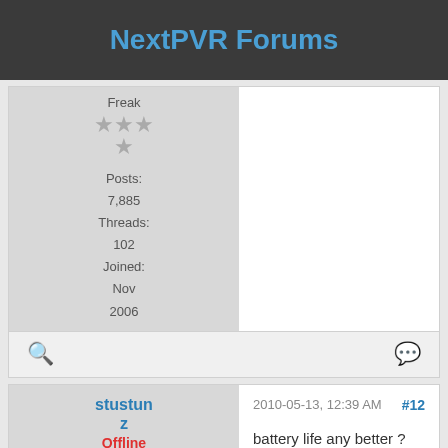NextPVR Forums
Freak
Posts: 7,885
Threads: 102
Joined: Nov 2006
stustunz
Offline
2010-05-13, 12:39 AM
#12
battery life any better ?
how hot do they run?